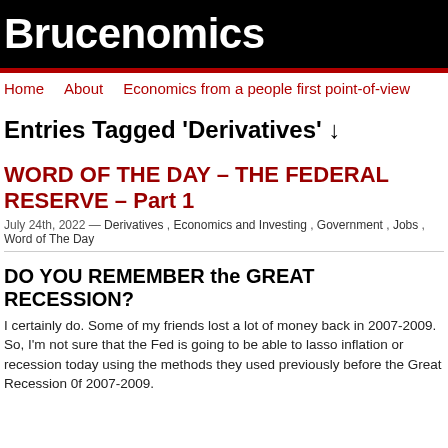Brucenomics
Home    About    Economics from a people first point-of-view
Entries Tagged 'Derivatives' ↓
WORD OF THE DAY – THE FEDERAL RESERVE – Part 1
July 24th, 2022 — Derivatives, Economics and Investing, Government, Jobs, Word of The Day
DO YOU REMEMBER the GREAT RECESSION?
I certainly do. Some of my friends lost a lot of money back in 2007-2009. So, I'm not sure that the Fed is going to be able to lasso inflation or recession today using the methods they used previously before the Great Recession 0f 2007-2009.